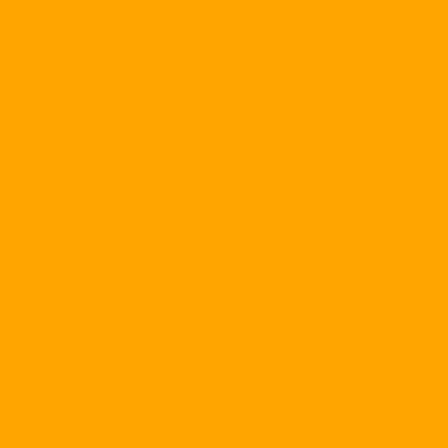their preference for dealing with challenges like migration, through multilateral institutions.
Respondents were also asked to choose whether to maintain, if not increase, the roughly 200 troops deployed Europe, Northeast Asia, and the foreign commitments. A plurality of 42 percent favored those regions, while 32 percent favored r...
Based on the answers to these last two questions, respondents into four categories: "Traditionalists" with other countries to address global issues; of the world's ultimate security guarantor; diplomatic efforts and reducing Washington's; Primacists" who prefer maintaining Washington's international institutions; and "Genuine Is... in general.
It found that a plurality of respondents fell percent); then "Traditional Internationalists" Isolationists" (17.5 percent), and "Hard P... remainder. Together, the two categories that "Ambassadors" and "Isolationists" make up according to the report accompanying the...